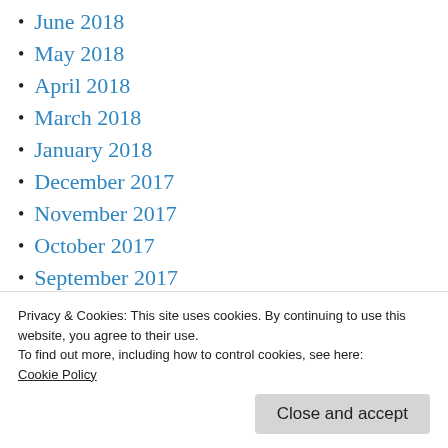June 2018
May 2018
April 2018
March 2018
January 2018
December 2017
November 2017
October 2017
September 2017
July 2017
June 2017
Privacy & Cookies: This site uses cookies. By continuing to use this website, you agree to their use.
To find out more, including how to control cookies, see here:
Cookie Policy
Close and accept
January 2017